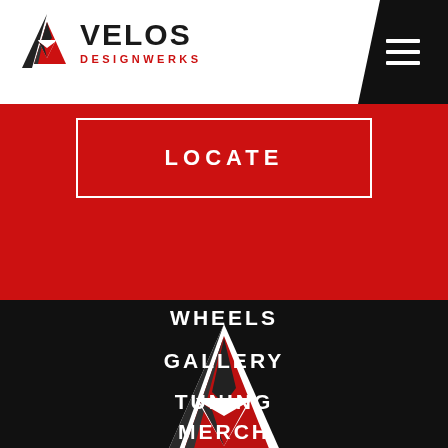[Figure (logo): Velos Designwerks logo with triangular V icon in red/black/white and text VELOS in bold black with DESIGNWERKS in red below]
[Figure (other): Hamburger menu icon (three white horizontal lines) on black background top right]
LOCATE
[Figure (logo): Large Velos Designwerks V-shaped triangular logo icon centered on dark background]
WHEELS
GALLERY
TUNING
MERCH